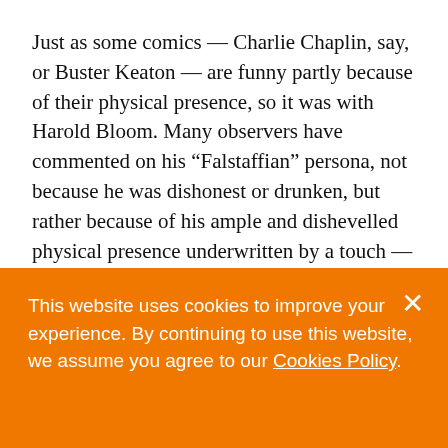Just as some comics — Charlie Chaplin, say, or Buster Keaton — are funny partly because of their physical presence, so it was with Harold Bloom. Many observers have commented on his “Falstaffian” persona, not because he was dishonest or drunken, but rather because of his ample and dishevelled physical presence underwritten by a touch — or more than a touch — of megalomania.
This website uses cookies to improve your experience. By continuing to use this website, we assume you agree to our Cookies Policy.